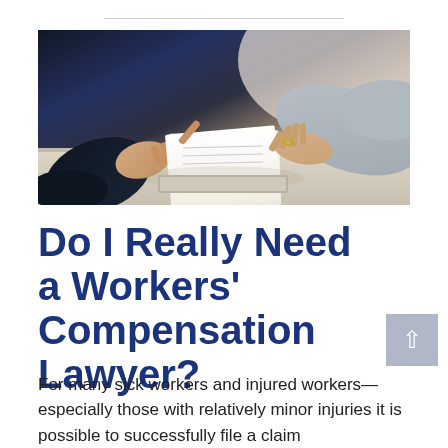[Figure (photo): Two people at a desk exchanging or reviewing a document — one person in a dark business suit gesturing with hands, the other in a light grey sleeve, both hands visible handling paper documents on a white desk.]
Do I Really Need a Workers' Compensation Lawyer?
For many sick workers and injured workers—especially those with relatively minor injuries it is possible to successfully file a claim